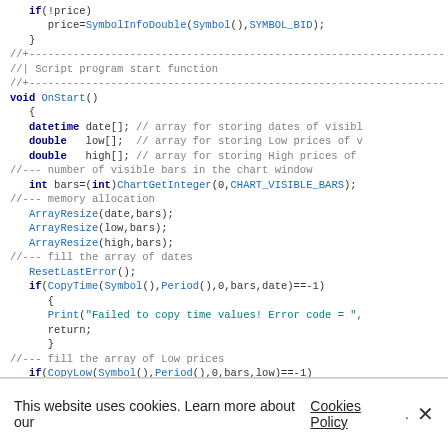[Figure (screenshot): Code snippet showing MQL5/MQL4 script with void OnStart() function containing array declarations, memory allocation calls (ArrayResize), date/low/high array population using CopyTime, CopyLow, CopyHigh functions, with grey comments and blue keywords/function names.]
This website uses cookies. Learn more about our Cookies Policy. ×